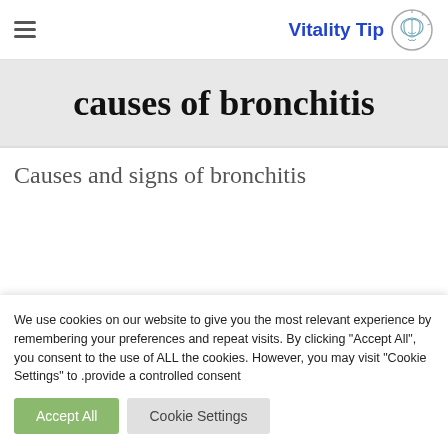Vitality Tips
causes of bronchitis
Causes and signs of bronchitis
We use cookies on our website to give you the most relevant experience by remembering your preferences and repeat visits. By clicking "Accept All", you consent to the use of ALL the cookies. However, you may visit "Cookie Settings" to provide a controlled consent.
Accept All   Cookie Settings